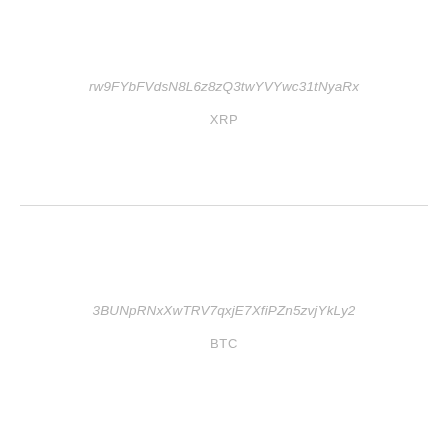rw9FYbFVdsN8L6z8zQ3twYVYwc31tNyaRx
XRP
3BUNpRNxXwTRV7qxjE7XfiPZn5zvjYkLy2
BTC